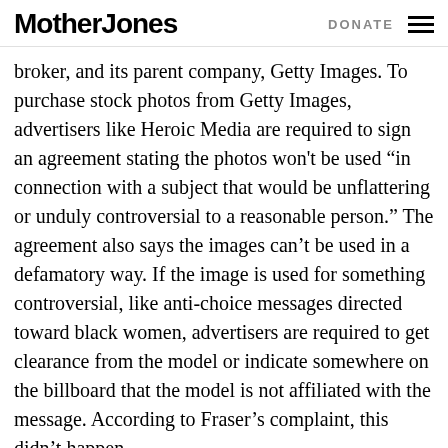Mother Jones | DONATE
broker, and its parent company, Getty Images. To purchase stock photos from Getty Images, advertisers like Heroic Media are required to sign an agreement stating the photos won't be used “in connection with a subject that would be unflattering or unduly controversial to a reasonable person.” The agreement also says the images can’t be used in a defamatory way. If the image is used for something controversial, like anti-choice messages directed toward black women, advertisers are required to get clearance from the model or indicate somewhere on the billboard that the model is not affiliated with the message. According to Fraser’s complaint, this didn’t happen.